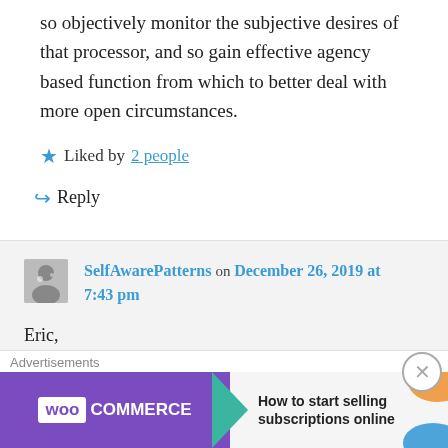so objectively monitor the subjective desires of that processor, and so gain effective agency based function from which to better deal with more open circumstances.
★ Liked by 2 people
↪ Reply
SelfAwarePatterns on December 26, 2019 at 7:43 pm
Eric,
I'm not sure about the panpsychism part,
Advertisements
[Figure (screenshot): WooCommerce advertisement banner: How to start selling subscriptions online]